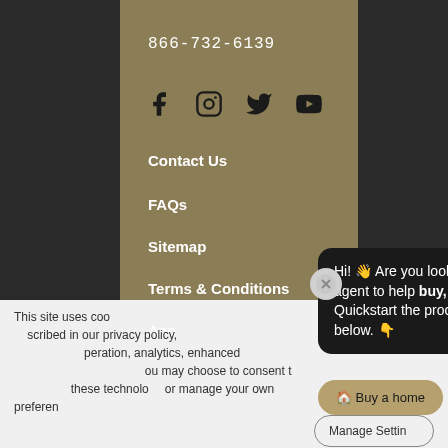866-732-6139
[Figure (illustration): Social media icons: Facebook, Instagram, Twitter/X, YouTube in dark color on tan background]
Contact Us
FAQs
Sitemap
Terms & Conditions
Accessibility
[Figure (screenshot): Chat popup with close X button saying: Hi! Are you looking for a C21 agent to help buy, sell or rent? Quickstart the process by selecting below. With buttons: Buy a home, Sell a home, Rent a home]
This site uses cookies and related technologies, as described in our privacy policy, for purposes that may include site operation, analytics, enhanced user experience, or advertising. You may choose to consent to our use of these technologies, or manage your own preferences.
Manage Settings
Decline